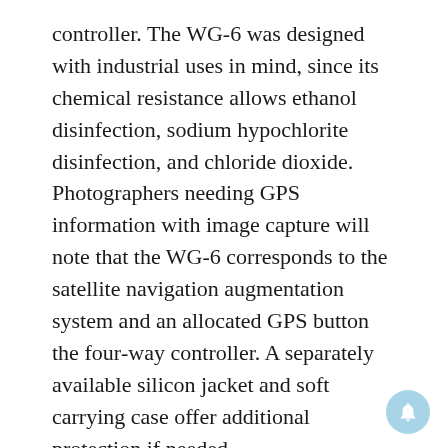controller. The WG-6 was designed with industrial uses in mind, since its chemical resistance allows ethanol disinfection, sodium hypochlorite disinfection, and chloride dioxide. Photographers needing GPS information with image capture will note that the WG-6 corresponds to the satellite navigation augmentation system and an allocated GPS button the four-way controller. A separately available silicon jacket and soft carrying case offer additional protection if needed.
Finally, the G900 (B&H Photo Video/Adorama) US price is $799, updates the G800 compact point-and-shoot, built to endure work-site use. Its back-illuminated 20MP CMOS sensor